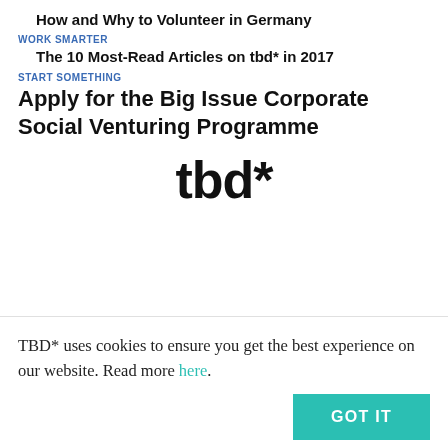How and Why to Volunteer in Germany
WORK SMARTER
The 10 Most-Read Articles on tbd* in 2017
START SOMETHING
Apply for the Big Issue Corporate Social Venturing Programme
[Figure (logo): tbd* logo in large bold black text]
TBD* uses cookies to ensure you get the best experience on our website. Read more here.